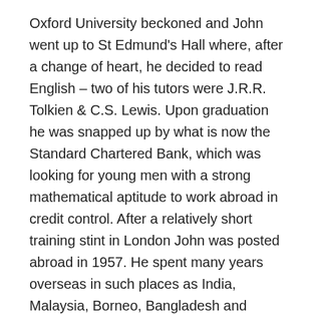Oxford University beckoned and John went up to St Edmund's Hall where, after a change of heart, he decided to read English – two of his tutors were J.R.R. Tolkien & C.S. Lewis. Upon graduation he was snapped up by what is now the Standard Chartered Bank, which was looking for young men with a strong mathematical aptitude to work abroad in credit control. After a relatively short training stint in London John was posted abroad in 1957. He spent many years overseas in such places as India, Malaysia, Borneo, Bangladesh and particularly Saigon during the Vietnam War. His comment about that time was: 'It was a wonderful life, it took me to parts of the world I'd never been before'. John's final overseas stint between 1969 and 1972 was spent in Indonesia where he met his future wife, Farida who was working at the Jakarta branch.
After their marriage in 1972 they returned to the UK and